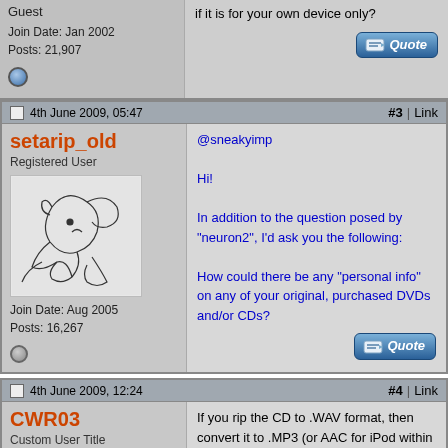Guest
Join Date: Jan 2002
Posts: 21,907
if it is for your own device only?
4th June 2009, 05:47
#3 | Link
setarip_old
Registered User
Join Date: Aug 2005
Posts: 16,267
@sneakyimp

Hi!

In addition to the question posed by "neuron2", I'd ask you the following:

How could there be any "personal info" on any of your original, purchased DVDs and/or CDs?
4th June 2009, 12:24
#4 | Link
CWR03
Custom User Title
If you rip the CD to .WAV format, then convert it to .MP3 (or AAC for iPod within iTunes) there will be no copy protection involved. There are also a number of freeware programs that can convert a DVD to an unprotected